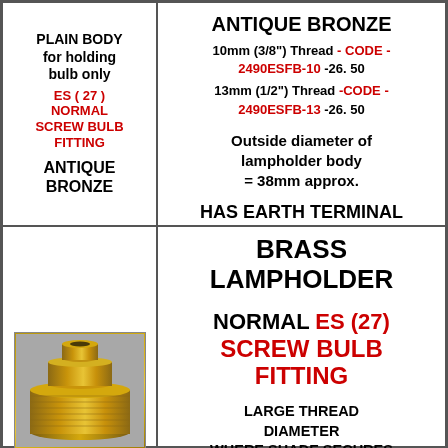PLAIN BODY for holding bulb only ES ( 27 ) NORMAL SCREW BULB FITTING ANTIQUE BRONZE
ANTIQUE BRONZE 10mm (3/8") Thread - CODE - 2490ESFB-10 -26. 50 13mm (1/2") Thread -CODE - 2490ESFB-13 -26. 50 Outside diameter of lampholder body = 38mm approx. HAS EARTH TERMINAL
[Figure (photo): Photo of a brass lampholder component showing threaded cylindrical body]
BRASS LAMPHOLDER NORMAL ES (27) SCREW BULB FITTING LARGE THREAD DIAMETER WHERE SHADE SECURES